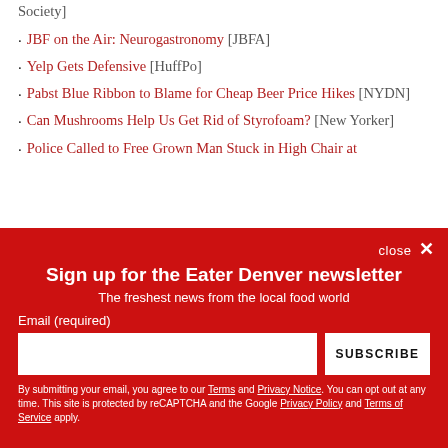Society]
JBF on the Air: Neurogastronomy [JBFA]
Yelp Gets Defensive [HuffPo]
Pabst Blue Ribbon to Blame for Cheap Beer Price Hikes [NYDN]
Can Mushrooms Help Us Get Rid of Styrofoam? [New Yorker]
Police Called to Free Grown Man Stuck in High Chair at
Sign up for the Eater Denver newsletter
The freshest news from the local food world
Email (required)
By submitting your email, you agree to our Terms and Privacy Notice. You can opt out at any time. This site is protected by reCAPTCHA and the Google Privacy Policy and Terms of Service apply.